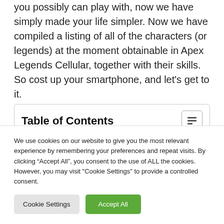you possibly can play with, now we have simply made your life simpler. Now we have compiled a listing of all of the characters (or legends) at the moment obtainable in Apex Legends Cellular, together with their skills. So cost up your smartphone, and let’s get to it.
Table of Contents
1. Apex Legends Cellular Characters and Talents
We use cookies on our website to give you the most relevant experience by remembering your preferences and repeat visits. By clicking “Accept All”, you consent to the use of ALL the cookies. However, you may visit "Cookie Settings" to provide a controlled consent.